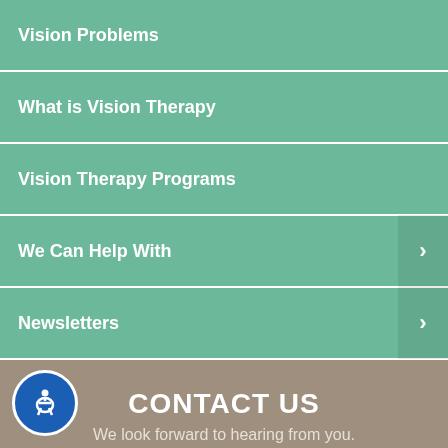Vision Problems
What is Vision Therapy
Vision Therapy Programs
We Can Help With
Newsletters
CONTACT US
We look forward to hearing from you.
Enter your name (Required)
Enter your email (Required)